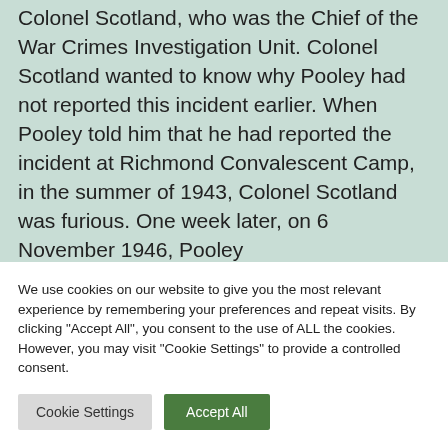Colonel Scotland, who was the Chief of the War Crimes Investigation Unit. Colonel Scotland wanted to know why Pooley had not reported this incident earlier. When Pooley told him that he had reported the incident at Richmond Convalescent Camp, in the summer of 1943, Colonel Scotland was furious. One week later, on 6 November 1946, Pooley
We use cookies on our website to give you the most relevant experience by remembering your preferences and repeat visits. By clicking "Accept All", you consent to the use of ALL the cookies. However, you may visit "Cookie Settings" to provide a controlled consent.